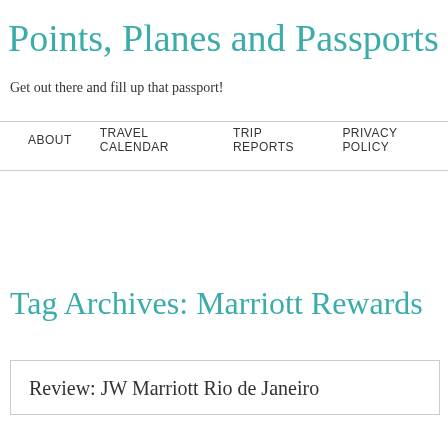Points, Planes and Passports
Get out there and fill up that passport!
ABOUT   TRAVEL CALENDAR   TRIP REPORTS   PRIVACY POLICY
Tag Archives: Marriott Rewards
Review: JW Marriott Rio de Janeiro